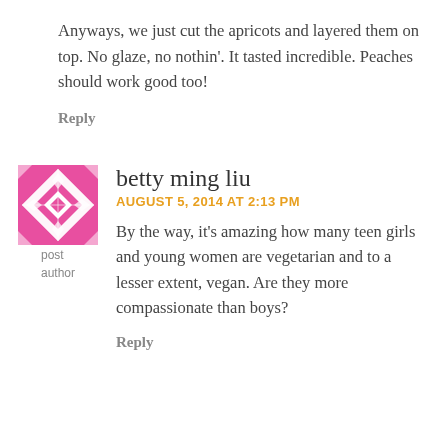Anyways, we just cut the apricots and layered them on top. No glaze, no nothin'. It tasted incredible. Peaches should work good too!
Reply
[Figure (illustration): Pink and white geometric quilt pattern avatar icon for user betty ming liu]
post author
betty ming liu
AUGUST 5, 2014 AT 2:13 PM
By the way, it's amazing how many teen girls and young women are vegetarian and to a lesser extent, vegan. Are they more compassionate than boys?
Reply